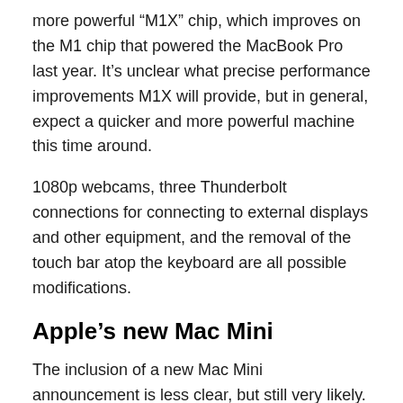more powerful “M1X” chip, which improves on the M1 chip that powered the MacBook Pro last year. It’s unclear what precise performance improvements M1X will provide, but in general, expect a quicker and more powerful machine this time around.
1080p webcams, three Thunderbolt connections for connecting to external displays and other equipment, and the removal of the touch bar atop the keyboard are all possible modifications.
Apple’s new Mac Mini
The inclusion of a new Mac Mini announcement is less clear, but still very likely. If you’ve heard this before, please stop us: The M1 chip was used in last year’s model, however the reported future model will use the